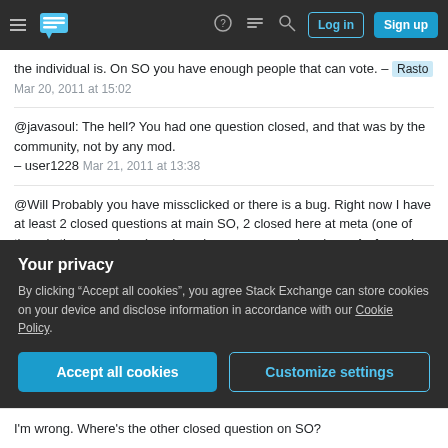Stack Exchange navigation bar with hamburger menu, logo, help, chat, search icons, Log in and Sign up buttons
the individual is. On SO you have enough people that can vote. – Rasto Mar 20, 2011 at 15:02
@javasoul: The hell? You had one question closed, and that was by the community, not by any mod. – user1228 Mar 21, 2011 at 13:38
@Will Probably you have missclicked or there is a bug. Right now I have at least 2 closed questions at main SO, 2 closed here at meta (one of them is the moved one) and maybe some more elsewhere. As far as I remember non of my questions have ever been closed by community at least there has never been more then 2 closing votes displayed to me and there
Your privacy
By clicking "Accept all cookies", you agree Stack Exchange can store cookies on your device and disclose information in accordance with our Cookie Policy.
I'm wrong. Where's the other closed question on SO?